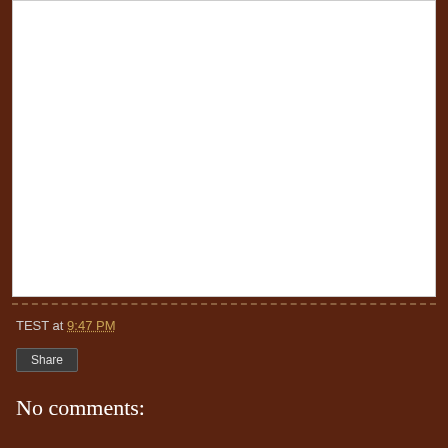[Figure (other): White content area representing a blog post image or article body area]
TEST at 9:47 PM
Share
No comments: